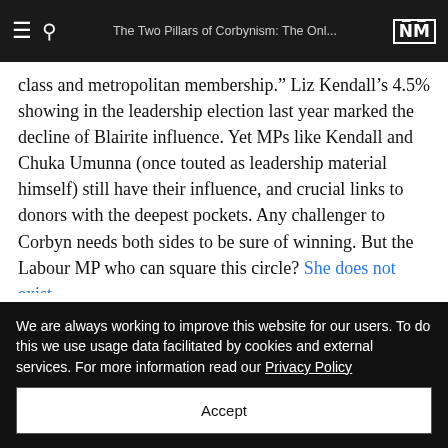The Two Pillars of Corbynism: The Onl...
class and metropolitan membership.” Liz Kendall’s 4.5% showing in the leadership election last year marked the decline of Blairite influence. Yet MPs like Kendall and Chuka Umunna (once touted as leadership material himself) still have their influence, and crucial links to donors with the deepest pockets. Any challenger to Corbyn needs both sides to be sure of winning. But the Labour MP who can square this circle? She does not exist.
Only Corbyn’s principles help us respond to Brexit.
We are always working to improve this website for our users. To do this we use usage data facilitated by cookies and external services. For more information read our Privacy Policy
Accept